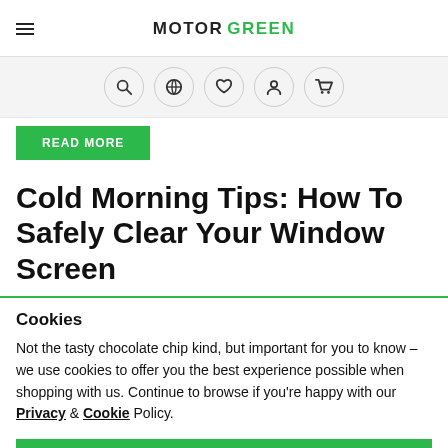MOTOR GREEN
[Figure (other): Navigation icon row with search, globe, heart, person, and cart icons in circular borders on a light grey background]
READ MORE
Cold Morning Tips: How To Safely Clear Your Window Screen
Cookies
Not the tasty chocolate chip kind, but important for you to know – we use cookies to offer you the best experience possible when shopping with us. Continue to browse if you're happy with our Privacy & Cookie Policy.
CONTINUE